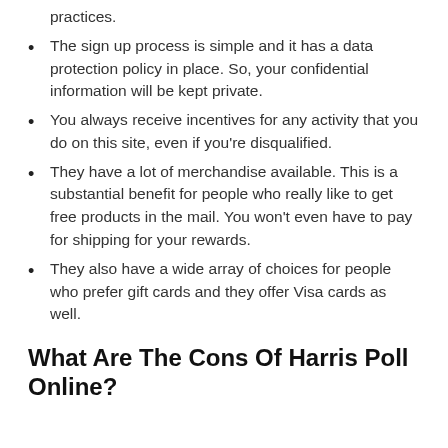practices.
The sign up process is simple and it has a data protection policy in place. So, your confidential information will be kept private.
You always receive incentives for any activity that you do on this site, even if you're disqualified.
They have a lot of merchandise available. This is a substantial benefit for people who really like to get free products in the mail. You won't even have to pay for shipping for your rewards.
They also have a wide array of choices for people who prefer gift cards and they offer Visa cards as well.
What Are The Cons Of Harris Poll Online?